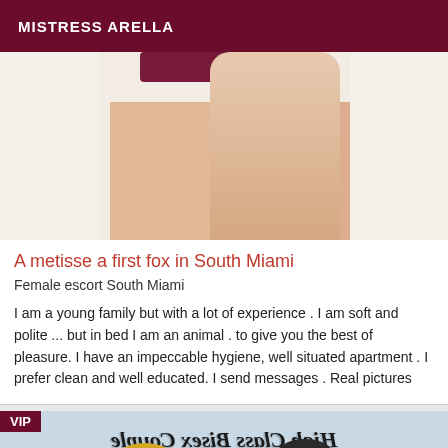MISTRESS ARELLA
[Figure (photo): Partial photo of a person's legs against a light background]
A metisse a first fox in South Miami
Female escort South Miami
I am a young family but with a lot of experience . I am soft and polite ... but in bed I am an animal . to give you the best of pleasure. I have an impeccable hygiene, well situated apartment . I prefer clean and well educated. I send messages . Real pictures
[Figure (photo): VIP listing photo showing mirrored text reading 'High Class Bisex Couple' with two people visible at the bottom]